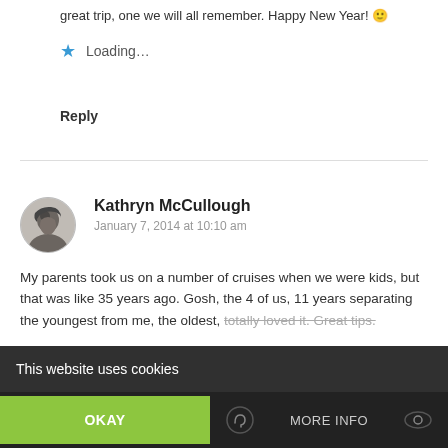great trip, one we will all remember. Happy New Year!
Loading...
Reply
Kathryn McCullough
January 7, 2014 at 10:10 am
My parents took us on a number of cruises when we were kids, but that was like 35 years ago. Gosh, the 4 of us, 11 years separating the youngest from me, the oldest, totally loved it. Great tips.
This website uses cookies
OKAY
MORE INFO